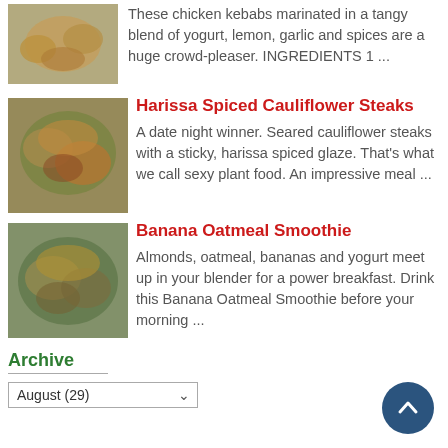[Figure (photo): Thumbnail image of chicken kebabs]
These chicken kebabs marinated in a tangy blend of yogurt, lemon, garlic and spices are a huge crowd-pleaser. INGREDIENTS 1 ...
[Figure (photo): Thumbnail image of harissa spiced cauliflower steaks]
Harissa Spiced Cauliflower Steaks
A date night winner. Seared cauliflower steaks with a sticky, harissa spiced glaze. That's what we call sexy plant food. An impressive meal ...
[Figure (photo): Thumbnail image of banana oatmeal smoothie]
Banana Oatmeal Smoothie
Almonds, oatmeal, bananas and yogurt meet up in your blender for a power breakfast. Drink this Banana Oatmeal Smoothie before your morning ...
Archive
August (29)